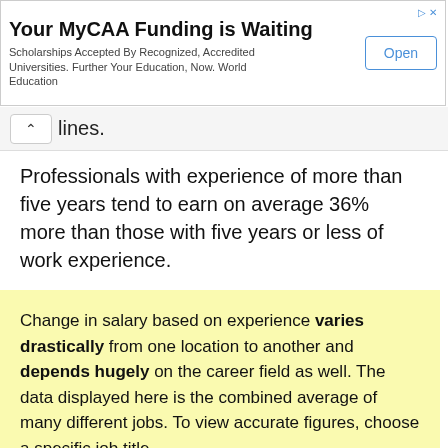[Figure (other): Advertisement banner for MyCAA Funding with title 'Your MyCAA Funding is Waiting', subtitle text about scholarships, and an 'Open' button.]
lines.
Professionals with experience of more than five years tend to earn on average 36% more than those with five years or less of work experience.
Change in salary based on experience varies drastically from one location to another and depends hugely on the career field as well. The data displayed here is the combined average of many different jobs. To view accurate figures, choose a specific job title.